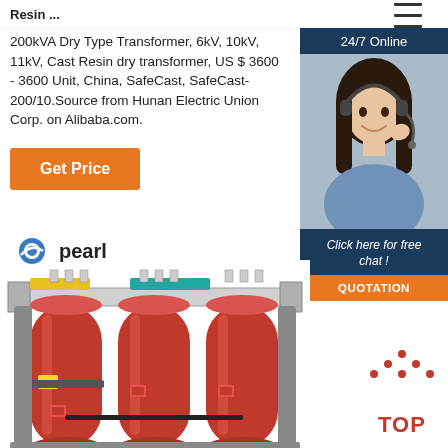Resin ...
200kVA Dry Type Transformer, 6kV, 10kV, 11kV, Cast Resin dry transformer, US $ 3600 - 3600 Unit, China, SafeCast, SafeCast-200/10.Source from Hunan Electric Union Corp. on Alibaba.com.
Get Price
[Figure (photo): Customer service agent photo with 24/7 Online label and chat widget with QUOTATION button]
[Figure (photo): Pearl-branded 200kVA dry type cast resin transformer with three red cylindrical coils mounted on a metal frame, viewed from the front. Pearl logo visible in upper left.]
TOP